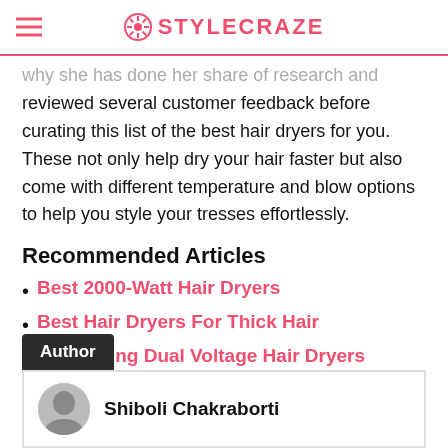STYLECRAZE
...why she has done her share of research and reviewed several customer feedback before curating this list of the best hair dryers for you. These not only help dry your hair faster but also come with different temperature and blow options to help you style your tresses effortlessly.
Recommended Articles
Best 2000-Watt Hair Dryers
Best Hair Dryers For Thick Hair
Bestselling Dual Voltage Hair Dryers
Author
Shiboli Chakraborti